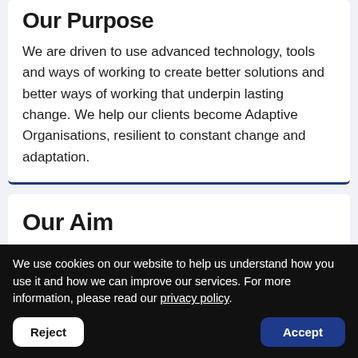Our Purpose
We are driven to use advanced technology, tools and ways of working to create better solutions and better ways of working that underpin lasting change. We help our clients become Adaptive Organisations, resilient to constant change and adaptation.
Our Aim
Our people are courageous and focus on
We use cookies on our website to help us understand how you use it and how we can improve our services. For more information, please read our privacy policy.
Reject
Accept